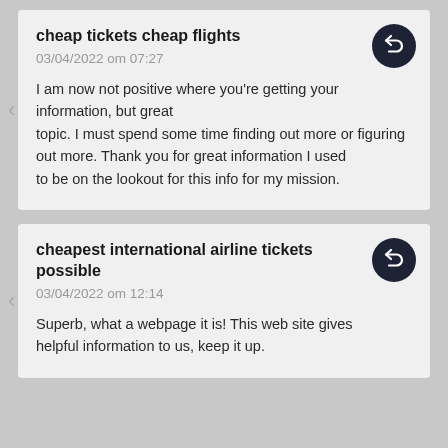cheap tickets cheap flights
03/04/2022 om 07:27
I am now not positive where you're getting your information, but great topic. I must spend some time finding out more or figuring out more. Thank you for great information I used to be on the lookout for this info for my mission.
cheapest international airline tickets possible
03/04/2022 om 12:14
Superb, what a webpage it is! This web site gives helpful information to us, keep it up.